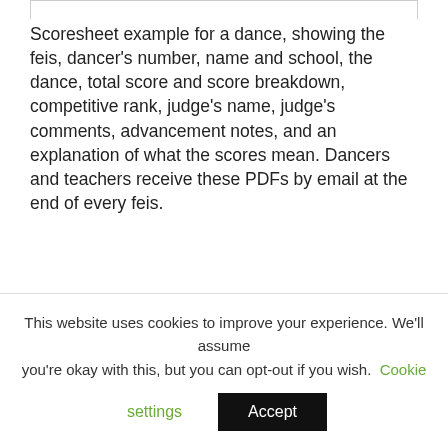Scoresheet example for a dance, showing the feis, dancer's number, name and school, the dance, total score and score breakdown, competitive rank, judge's name, judge's comments, advancement notes, and an explanation of what the scores mean. Dancers and teachers receive these PDFs by email at the end of every feis.
Dancers who receive a score of 80 or above can move up in the Digital Feis system, regardless of number of competitors
Dancers can also earn their advancements by
This website uses cookies to improve your experience. We'll assume you're okay with this, but you can opt-out if you wish. Cookie settings Accept